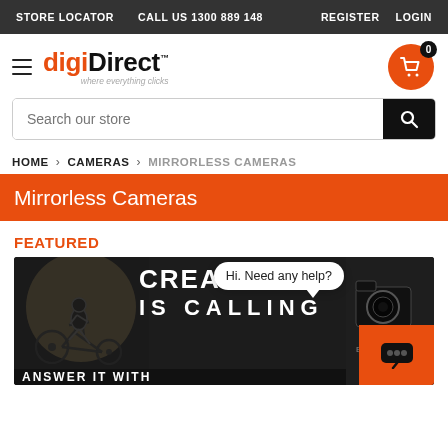STORE LOCATOR   CALL US 1300 889 148   REGISTER   LOGIN
[Figure (logo): digiDirect logo with hamburger menu icon and tagline 'where everything clicks']
[Figure (other): Shopping cart icon in orange circle with badge showing 0]
Search our store
HOME > CAMERAS > MIRRORLESS CAMERAS
Mirrorless Cameras
FEATURED
[Figure (photo): Dark promotional banner with BMX cyclist silhouette on left, 'CREATIVITY IS CALLING' text in large white bold font in center, camera equipment on right, 'ANSWER IT WITH' partially visible at bottom, chat bubble saying 'Hi. Need any help?' overlaid top right]